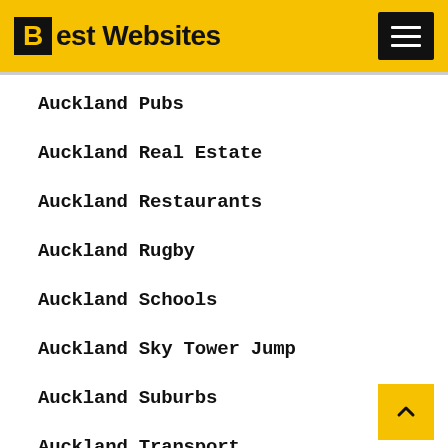Best Websites
Auckland Pubs
Auckland Real Estate
Auckland Restaurants
Auckland Rugby
Auckland Schools
Auckland Sky Tower Jump
Auckland Suburbs
Auckland Transport